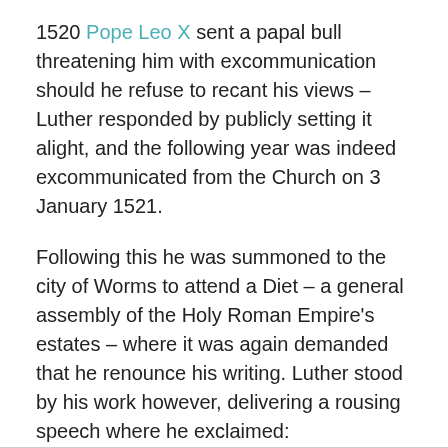1520 Pope Leo X sent a papal bull threatening him with excommunication should he refuse to recant his views – Luther responded by publicly setting it alight, and the following year was indeed excommunicated from the Church on 3 January 1521.
Following this he was summoned to the city of Worms to attend a Diet – a general assembly of the Holy Roman Empire's estates – where it was again demanded that he renounce his writing. Luther stood by his work however, delivering a rousing speech where he exclaimed: